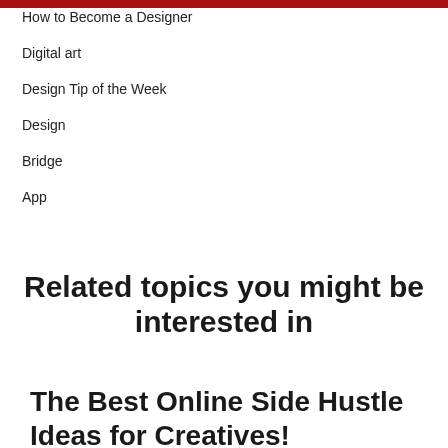How to Become a Designer
Digital art
Design Tip of the Week
Design
Bridge
App
Related topics you might be interested in
The Best Online Side Hustle Ideas for Creatives!